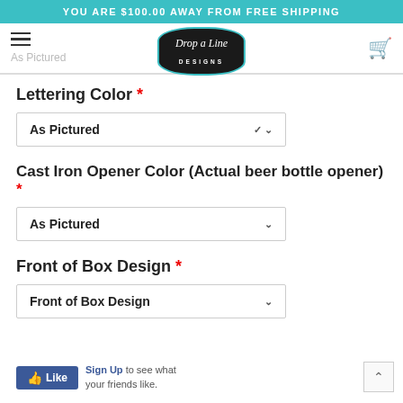YOU ARE $100.00 AWAY FROM FREE SHIPPING
[Figure (logo): Drop a Line Designs logo — black ornate badge with teal border and white cursive text]
Lettering Color *
As Pictured (dropdown)
Cast Iron Opener Color (Actual beer bottle opener) *
As Pictured (dropdown)
Front of Box Design *
Front of Box Design (dropdown)
Sign Up to see what your friends like.